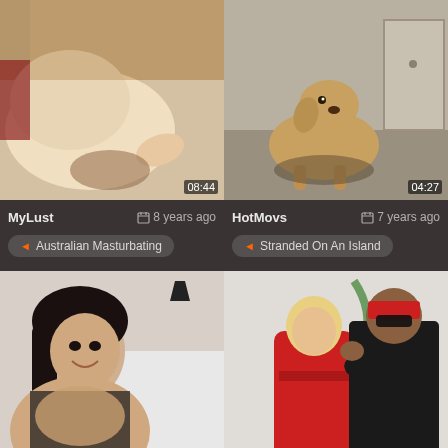[Figure (screenshot): Thumbnail image top-left, intimate content, duration 08:44]
[Figure (screenshot): Thumbnail image top-right, dog on floor, duration 04:27]
MyLust  8 years ago
HotMovs  7 years ago
Australian Masturbating
Stranded On An Island
[Figure (screenshot): Thumbnail bottom-left, woman smiling]
[Figure (screenshot): Thumbnail bottom-right, man and woman, Brazzers branding, duration 07:30]
YouurLust  9 years ago
AnySex  8 years ago